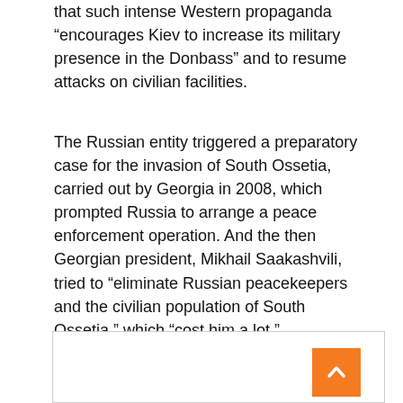that such intense Western propaganda “encourages Kiev to increase its military presence in the Donbass” and to resume attacks on civilian facilities.
The Russian entity triggered a preparatory case for the invasion of South Ossetia, carried out by Georgia in 2008, which prompted Russia to arrange a peace enforcement operation. And the then Georgian president, Mikhail Saakashvili, tried to “eliminate Russian peacekeepers and the civilian population of South Ossetia,” which “cost him a lot.”
[Figure (photo): A photo of a man with an excited/surprised expression, framed in a bordered box with an orange scroll-to-top button in the bottom right corner.]